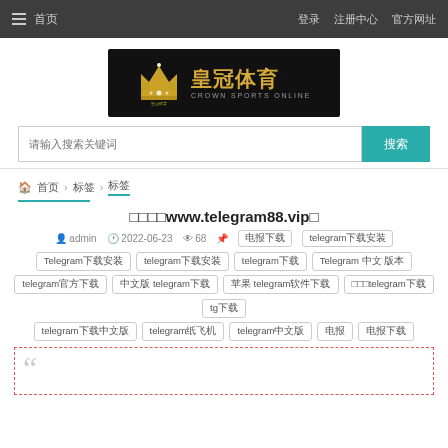≡ 首页  登录  注册
[Figure (logo): 皇冠体育 Crown Sports Online logo on black background]
请输入搜索关键词  搜索
🏠 首页 › 标签 › 标签
□□□□www.telegram88.vip□
admin  2022-06-23  68
Tags: Telegram下载安装 telegram下载安装 telegram下载 Telegram 中文 版本 telegram官方下载 中文版 telegram下载 苹果 telegram软件下载 tg下载 telegram下载中文版 telegram纸飞机 telegram中文版 电报 电报下载